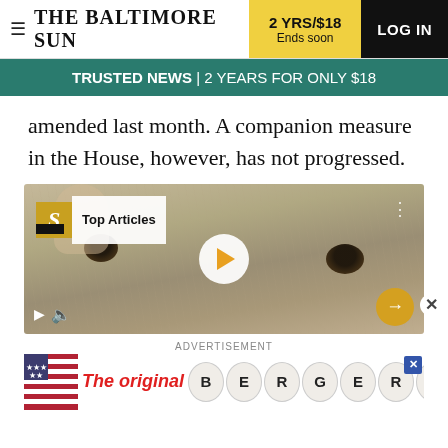THE BALTIMORE SUN | 2 YRS/$18 Ends soon | LOG IN
TRUSTED NEWS | 2 YEARS FOR ONLY $18
amended last month. A companion measure in the House, however, has not progressed.
[Figure (screenshot): Video player showing a medical image of a hand with skin lesions. Overlay shows 'Top Articles' badge with 'S' logo, a play button in the center, video controls at bottom left, a yellow next arrow button at bottom right, and three-dots menu at top right.]
ADVERTISEMENT
[Figure (screenshot): Advertisement banner showing 'The original BERGERS' with American flag imagery and oval letter badges spelling out BERGERS, with an X close button in the corner.]